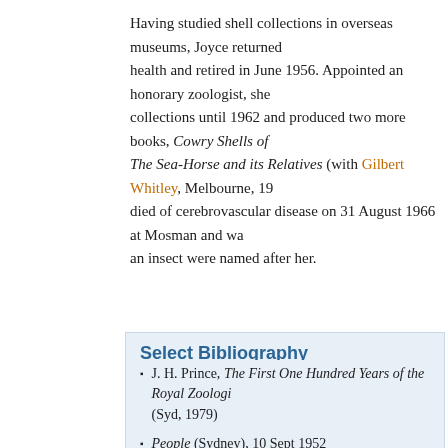Having studied shell collections in overseas museums, Joyce returned health and retired in June 1956. Appointed an honorary zoologist, she collections until 1962 and produced two more books, Cowry Shells of The Sea-Horse and its Relatives (with Gilbert Whitley, Melbourne, 19 died of cerebrovascular disease on 31 August 1966 at Mosman and wa an insect were named after her.
Select Bibliography
J. H. Prince, The First One Hundred Years of the Royal Zoologi (Syd, 1979)
People (Sydney), 10 Sept 1952
Malacological Society of Australia, Journal, 11, Mar 1968, p 50
Royal Zoological Society of New South Wales, Proceedings, Fe
Sydney Morning Herald, 2 Dec 1950
Daily Telegraph (Sydney),16 June 1956, 'Saturday Magazine' .
Citation details
D. F. McMichael, 'Allan, Catherine Mabel Joyce (1896–1966)', Austra